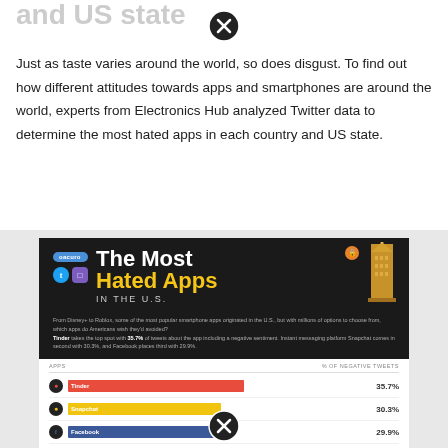and US state
Just as taste varies around the world, so does disgust. To find out how different attitudes towards apps and smartphones are around the world, experts from Electronics Hub analyzed Twitter data to determine the most hated apps in each country and US state.
[Figure (infographic): Infographic titled 'The Most Hated Apps IN THE U.S.' on dark background with app icons. Bar chart showing: Tinder 35.7%, Snapchat 30.3%, Facebook 29.9%, Bumble 29.8%, Reddit 28.1%, Netflix 26.0%, Disney+ 25.7%, Roblox 24.6%, and more. Categories are apps, values are % of negative tweets.]